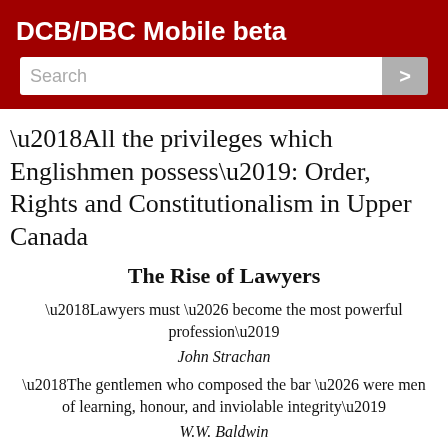DCB/DBC Mobile beta
‘All the privileges which Englishmen possess’: Order, Rights and Constitutionalism in Upper Canada
The Rise of Lawyers
‘Lawyers must … become the most powerful profession’
John Strachan
‘The gentlemen who composed the bar … were men of learning, honour, and inviolable integrity’
W.W. Baldwin